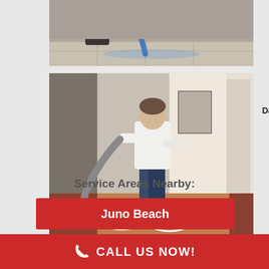[Figure (photo): Top portion of a water damage cleanup scene showing a vacuum hose and wet floor tiles]
[Figure (photo): A worker using a large hose/equipment to extract water in a residential hallway, water damage repair scene]
Residential Water Damage Repair Project, Kendall, FL
Service Areas Nearby:
Juno Beach
Hollywood
CALL US NOW!